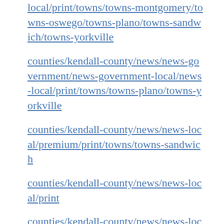local/print/towns/towns-montgomery/towns-oswego/towns-plano/towns-sandwich/towns-yorkville
counties/kendall-county/news/news-government/news-government-local/news-local/print/towns/towns-plano/towns-yorkville
counties/kendall-county/news/news-local/premium/print/towns/towns-sandwich
counties/kendall-county/news/news-local/print
counties/kendall-county/news/news-local/print/publications/pubs-kendall-county-now/schools/schools-kendall/schools-sandwich/towns/towns-sandwich
counties/kendall-county/news/news-local/print/towns/towns-sandwich
counties/lake-county/news/news-crime-and-courts/news-local/print/publications/pubs-northwest-herald/smi-newsletter
counties/lake-county/news/news-local/print/...